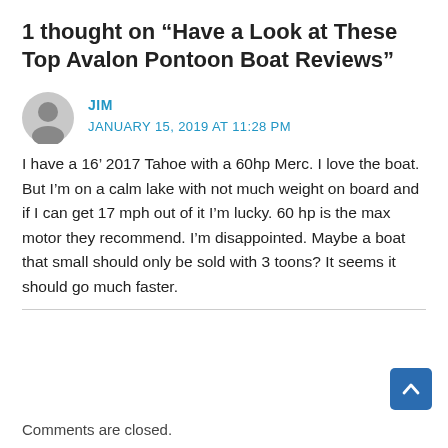1 thought on “Have a Look at These Top Avalon Pontoon Boat Reviews”
JIM
JANUARY 15, 2019 AT 11:28 PM
I have a 16’ 2017 Tahoe with a 60hp Merc. I love the boat. But I’m on a calm lake with not much weight on board and if I can get 17 mph out of it I’m lucky. 60 hp is the max motor they recommend. I’m disappointed. Maybe a boat that small should only be sold with 3 toons? It seems it should go much faster.
Comments are closed.